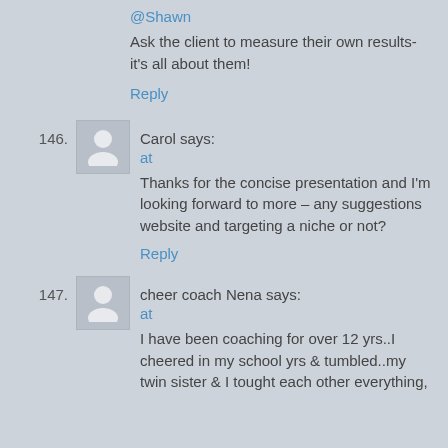@Shawn
Ask the client to measure their own results- it's all about them!
Reply
146. Carol says:
at
Thanks for the concise presentation and I'm looking forward to more – any suggestions website and targeting a niche or not?
Reply
147. cheer coach Nena says:
at
I have been coaching for over 12 yrs..I cheered in my school yrs & tumbled..my twin sister & I tought each other everything,